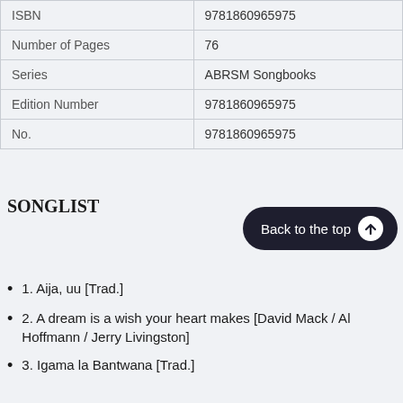| Field | Value |
| --- | --- |
| ISBN | 9781860965975 |
| Number of Pages | 76 |
| Series | ABRSM Songbooks |
| Edition Number | 9781860965975 |
| No. | 9781860965975 |
SONGLIST
1. Aija, uu [Trad.]
2. A dream is a wish your heart makes [David Mack / Al Hoffmann / Jerry Livingston]
3. Igama la Bantwana [Trad.]